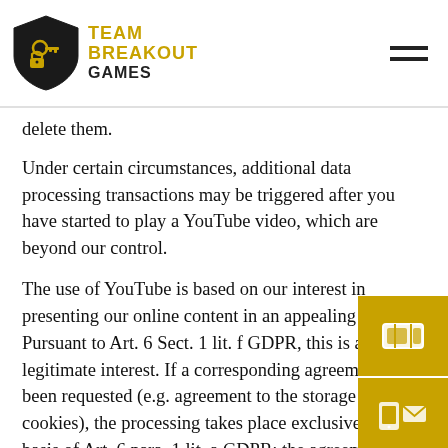Team Breakout Games
delete them.
Under certain circumstances, additional data processing transactions may be triggered after you have started to play a YouTube video, which are beyond our control.
The use of YouTube is based on our interest in presenting our online content in an appealing manner. Pursuant to Art. 6 Sect. 1 lit. f GDPR, this is a legitimate interest. If a corresponding agreement has been requested (e.g. agreement to the storage of cookies), the processing takes place exclusively on the basis of Art. 6 para. 1 lit. a GDPR; the agreement can be revoked at any time.
For more information on how YouTube handles user data, please consult the YouTube Data Privacy Policy under: